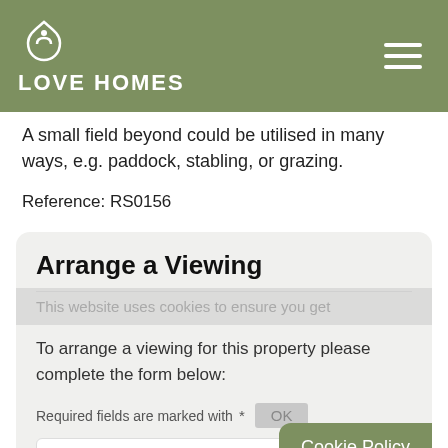LOVE HOMES
A small field beyond could be utilised in many ways, e.g. paddock, stabling, or grazing.
Reference: RS0156
Arrange a Viewing
This website uses cookies to ensure you get the best experience on our website.
To arrange a viewing for this property please complete the form below:
Required fields are marked with *
Name*
Cookie Policy